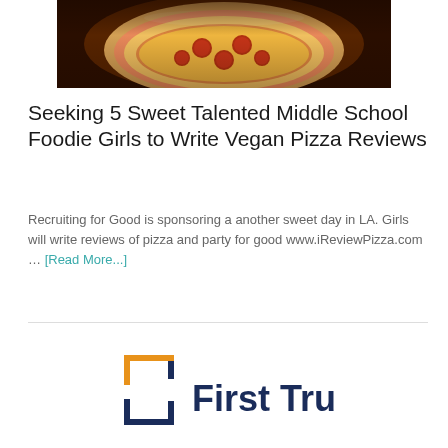[Figure (photo): Pizza with pepperoni on dark background, partially cropped at top]
Seeking 5 Sweet Talented Middle School Foodie Girls to Write Vegan Pizza Reviews
Recruiting for Good is sponsoring a another sweet day in LA. Girls will write reviews of pizza and party for good www.iReviewPizza.com … [Read More...]
[Figure (logo): First Trust logo — bracket icon in orange/navy with 'First Trust' text in navy]